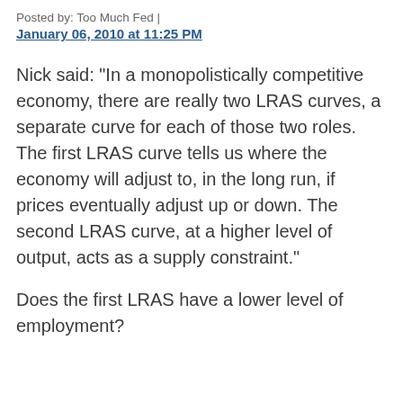Posted by: Too Much Fed | January 06, 2010 at 11:25 PM
Nick said: "In a monopolistically competitive economy, there are really two LRAS curves, a separate curve for each of those two roles. The first LRAS curve tells us where the economy will adjust to, in the long run, if prices eventually adjust up or down. The second LRAS curve, at a higher level of output, acts as a supply constraint."
Does the first LRAS have a lower level of employment?